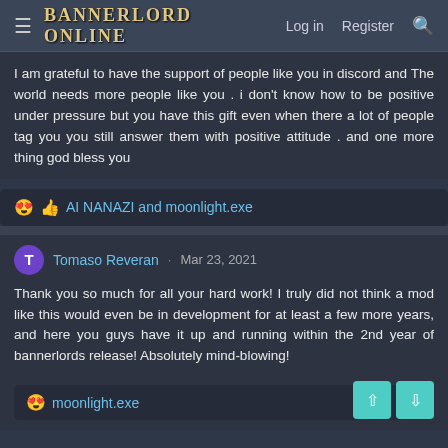Bannerlord Online — Log in  Register
I am grateful to have the support of people like you in discord and The world needs more people like you . i don't know how to be positive under pressure but you have this gift even when there a lot of people tag you you still answer them with positive attitude . and one more thing god bless you
😍👍 AI NANAZI and moonlight.exe
T  Tomaso Reveran · Mar 23, 2021
Thank you so much for all your hard work! I truly did not think a mod like this would even be in development for at least a few more years, and here you guys have it up and running within the 2nd year of bannerlords release! Absolutely mind-blowing!
😍 moonlight.exe